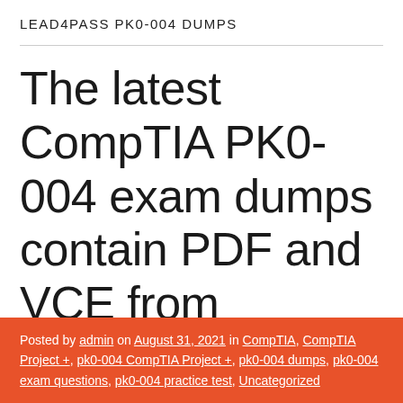LEAD4PASS PK0-004 DUMPS
The latest CompTIA PK0-004 exam dumps contain PDF and VCE from Lead4Pass
Posted by admin on August 31, 2021 in CompTIA, CompTIA Project +, pk0-004 CompTIA Project +, pk0-004 dumps, pk0-004 exam questions, pk0-004 practice test, Uncategorized